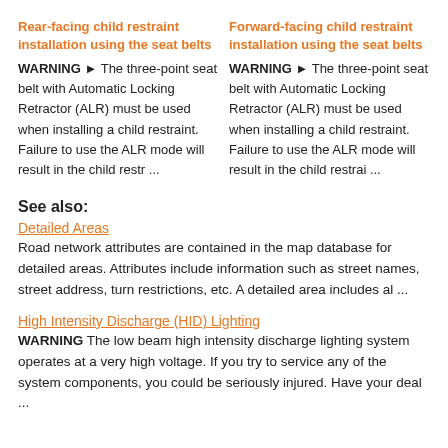Rear-facing child restraint installation using the seat belts
WARNING ► The three-point seat belt with Automatic Locking Retractor (ALR) must be used when installing a child restraint. Failure to use the ALR mode will result in the child restr ...
Forward-facing child restraint installation using the seat belts
WARNING ► The three-point seat belt with Automatic Locking Retractor (ALR) must be used when installing a child restraint. Failure to use the ALR mode will result in the child restrai ...
See also:
Detailed Areas
Road network attributes are contained in the map database for detailed areas. Attributes include information such as street names, street address, turn restrictions, etc. A detailed area includes al ...
High Intensity Discharge (HID) Lighting
WARNING The low beam high intensity discharge lighting system operates at a very high voltage. If you try to service any of the system components, you could be seriously injured. Have your deal ...